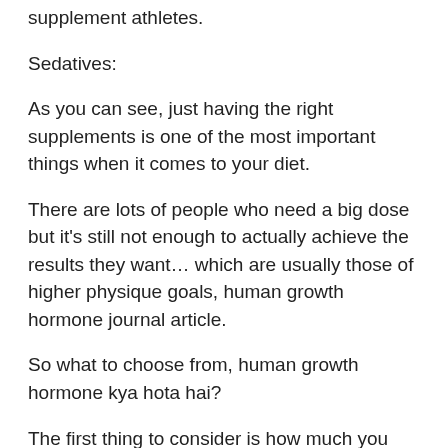supplement athletes.
Sedatives:
As you can see, just having the right supplements is one of the most important things when it comes to your diet.
There are lots of people who need a big dose but it's still not enough to actually achieve the results they want… which are usually those of higher physique goals, human growth hormone journal article.
So what to choose from, human growth hormone kya hota hai?
The first thing to consider is how much you actually need.
If you have a large physique and only